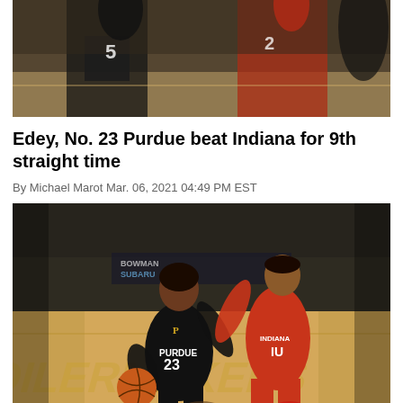[Figure (photo): Top portion of basketball game photo showing players in Purdue black and Indiana red uniforms reaching for ball]
Edey, No. 23 Purdue beat Indiana for 9th straight time
By Michael Marot Mar. 06, 2021 04:49 PM EST
[Figure (photo): Purdue player #23 in black uniform dribbling basketball while being guarded by Indiana player in red uniform on basketball court]